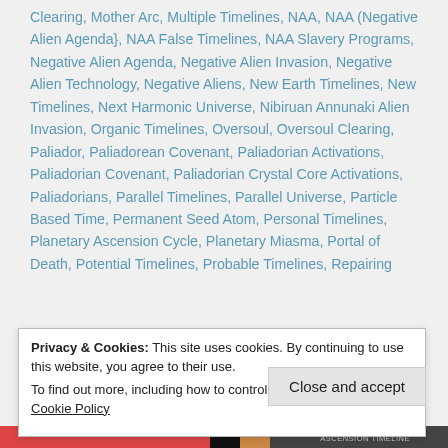Clearing, Mother Arc, Multiple Timelines, NAA, NAA (Negative Alien Agenda}, NAA False Timelines, NAA Slavery Programs, Negative Alien Agenda, Negative Alien Invasion, Negative Alien Technology, Negative Aliens, New Earth Timelines, New Timelines, Next Harmonic Universe, Nibiruan Annunaki Alien Invasion, Organic Timelines, Oversoul, Oversoul Clearing, Paliador, Paliadorean Covenant, Paliadorian Activations, Paliadorian Covenant, Paliadorian Crystal Core Activations, Paliadorians, Parallel Timelines, Parallel Universe, Particle Based Time, Permanent Seed Atom, Personal Timelines, Planetary Ascension Cycle, Planetary Miasma, Portal of Death, Potential Timelines, Probable Timelines, Repairing
Privacy & Cookies: This site uses cookies. By continuing to use this website, you agree to their use.
To find out more, including how to control cookies, see here: Cookie Policy
Close and accept